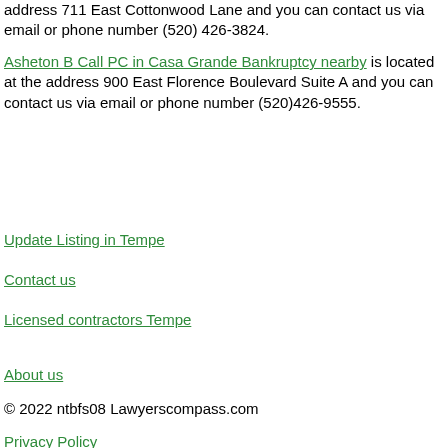address 711 East Cottonwood Lane and you can contact us via email or phone number (520) 426-3824.
Asheton B Call PC in Casa Grande Bankruptcy nearby is located at the address 900 East Florence Boulevard Suite A and you can contact us via email or phone number (520)426-9555.
Update Listing in Tempe
Contact us
Licensed contractors Tempe
About us
© 2022 ntbfs08 Lawyerscompass.com
Privacy Policy